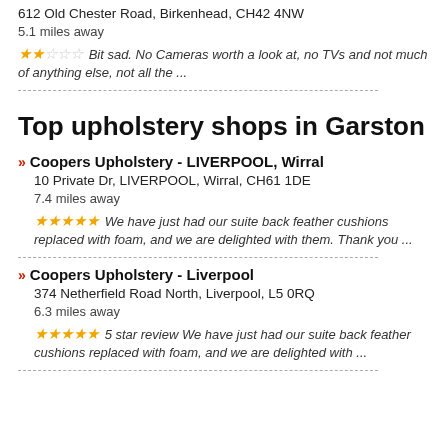612 Old Chester Road, Birkenhead, CH42 4NW
5.1 miles away
Bit sad. No Cameras worth a look at, no TVs and not much of anything else, not all the ...
Top upholstery shops in Garston
Coopers Upholstery - LIVERPOOL, Wirral
10 Private Dr, LIVERPOOL, Wirral, CH61 1DE
7.4 miles away
We have just had our suite back feather cushions replaced with foam, and we are delighted with them. Thank you ...
Coopers Upholstery - Liverpool
374 Netherfield Road North, Liverpool, L5 0RQ
6.3 miles away
5 star review We have just had our suite back feather cushions replaced with foam, and we are delighted with ...